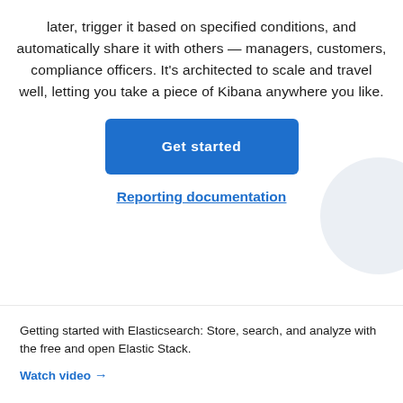later, trigger it based on specified conditions, and automatically share it with others — managers, customers, compliance officers. It's architected to scale and travel well, letting you take a piece of Kibana anywhere you like.
[Figure (other): Blue 'Get started' call-to-action button]
Reporting documentation
[Figure (illustration): Light gray decorative circle in the bottom-right background area]
Getting started with Elasticsearch: Store, search, and analyze with the free and open Elastic Stack.
Watch video →